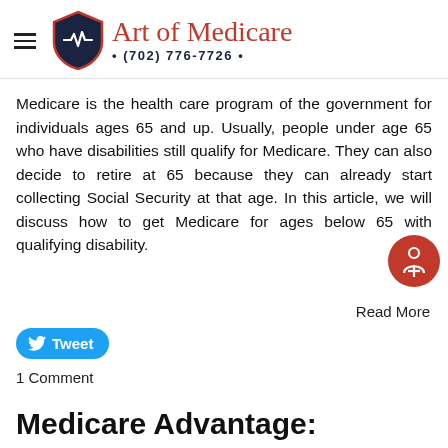Art of Medicare • (702) 776-7726 •
Medicare is the health care program of the government for individuals ages 65 and up. Usually, people under age 65 who have disabilities still qualify for Medicare. They can also decide to retire at 65 because they can already start collecting Social Security at that age. In this article, we will discuss how to get Medicare for ages below 65 with qualifying disability.
Read More
Tweet
1 Comment
Medicare Advantage: